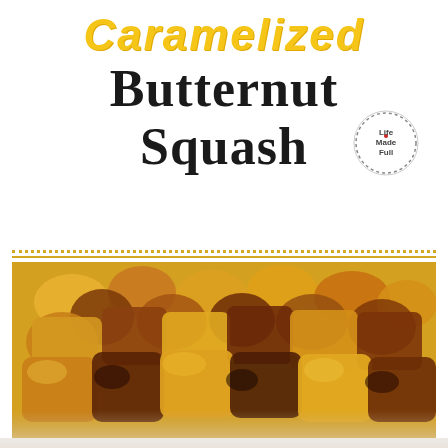Caramelized Butternut Squash
[Figure (logo): Life Made Full circular logo with dotted border and small red heart]
[Figure (photo): Close-up photo of caramelized butternut squash chunks, golden and browned, piled on a white surface]